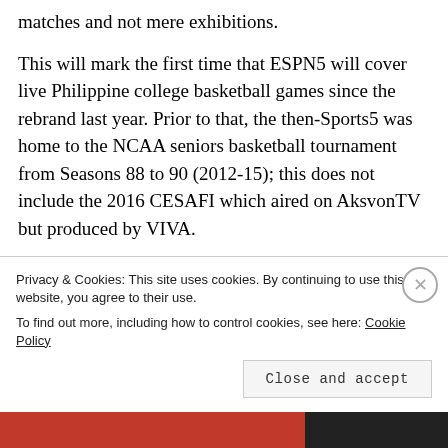matches and not mere exhibitions.
This will mark the first time that ESPN5 will cover live Philippine college basketball games since the rebrand last year. Prior to that, the then-Sports5 was home to the NCAA seniors basketball tournament from Seasons 88 to 90 (2012-15); this does not include the 2016 CESAFI which aired on AksvonTV but produced by VIVA.
Privacy & Cookies: This site uses cookies. By continuing to use this website, you agree to their use.
To find out more, including how to control cookies, see here: Cookie Policy